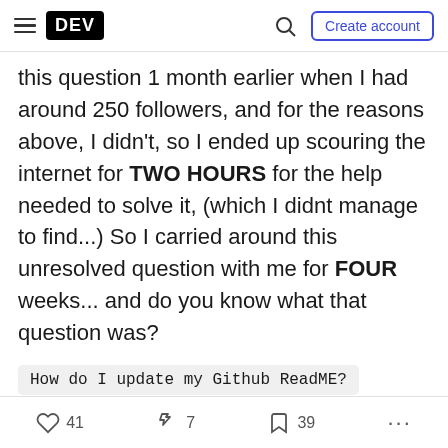DEV | Search | Create account
this question 1 month earlier when I had around 250 followers, and for the reasons above, I didn't, so I ended up scouring the internet for TWO HOURS for the help needed to solve it, (which I didnt manage to find...) So I carried around this unresolved question with me for FOUR weeks... and do you know what that question was?
Yes, that was it, just that, and as I clicked tweet, I felt the nerves kick in. Would people laugh at me? Would I look less knowledgeable for asking what seems
41 likes · 7 unicorns · 39 bookmarks